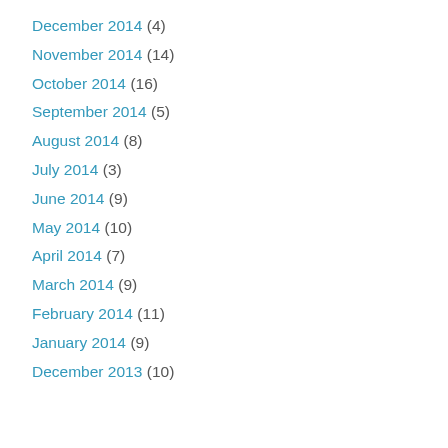December 2014 (4)
November 2014 (14)
October 2014 (16)
September 2014 (5)
August 2014 (8)
July 2014 (3)
June 2014 (9)
May 2014 (10)
April 2014 (7)
March 2014 (9)
February 2014 (11)
January 2014 (9)
December 2013 (10)